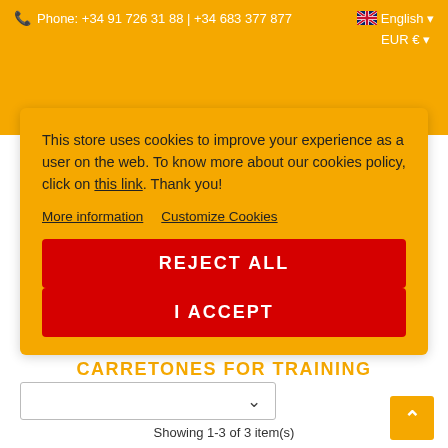Phone: +34 91 726 31 88 | +34 683 377 877  English  EUR €
[Figure (logo): Faint watermark logo in the background, partially visible behind cookie modal]
This store uses cookies to improve your experience as a user on the web. To know more about our cookies policy, click on this link. Thank you!
More information   Customize Cookies
REJECT ALL
I ACCEPT
CARRETONES FOR TRAINING
Showing 1-3 of 3 item(s)